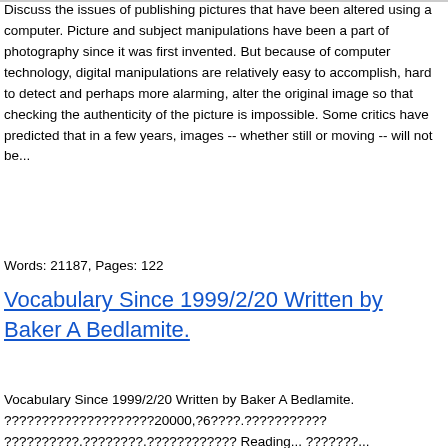Discuss the issues of publishing pictures that have been altered using a computer. Picture and subject manipulations have been a part of photography since it was first invented. But because of computer technology, digital manipulations are relatively easy to accomplish, hard to detect and perhaps more alarming, alter the original image so that checking the authenticity of the picture is impossible. Some critics have predicted that in a few years, images -- whether still or moving -- will not be...
Words: 21187, Pages: 122
Vocabulary Since 1999/2/20 Written by Baker A Bedlamite.
Vocabulary Since 1999/2/20 Written by Baker A Bedlamite. ????????????????????20000,?6????.??????????? ??????????.????????.???????????? Reading... ???????...